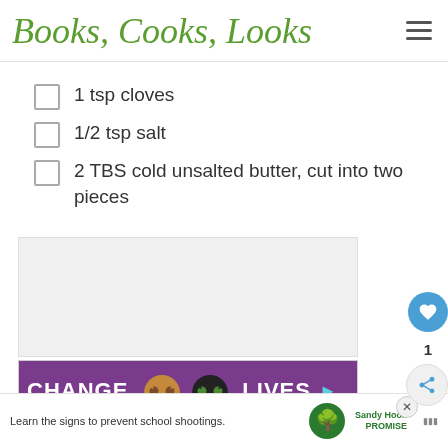Books, Cooks, Looks
1 tsp cloves
1/2 tsp salt
2 TBS cold unsalted butter, cut into two pieces
[Figure (other): Advertisement placeholder (light gray box)]
[Figure (other): Advertisement banner: CHANGE [cat icons] LIVES on purple background]
[Figure (other): Banner ad: Learn the signs to prevent school shootings. Sandy Hook Promise logo.]